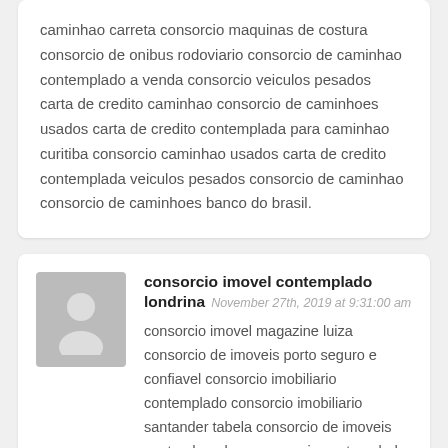caminhao carreta consorcio maquinas de costura consorcio de onibus rodoviario consorcio de caminhao contemplado a venda consorcio veiculos pesados carta de credito caminhao consorcio de caminhoes usados carta de credito contemplada para caminhao curitiba consorcio caminhao usados carta de credito contemplada veiculos pesados consorcio de caminhao consorcio de caminhoes banco do brasil.
consorcio imovel contemplado londrina
November 27th, 2019 at 9:31:00 am
consorcio imovel magazine luiza consorcio de imoveis porto seguro e confiavel consorcio imobiliario contemplado consorcio imobiliario santander tabela consorcio de imoveis santander e bom consorcio contemplado de imoveis banco do brasil como